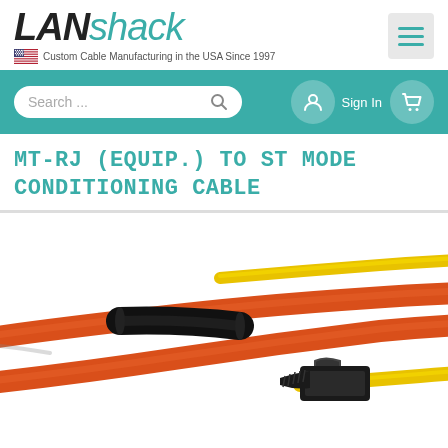[Figure (logo): LANshack logo with 'LAN' in black italic and 'shack' in teal italic, plus USA flag and tagline 'Custom Cable Manufacturing in the USA Since 1997']
[Figure (screenshot): Website navigation bar with search box showing 'Search...' placeholder, Sign In button with user icon, and cart icon on teal background]
MT-RJ (EQUIP.) TO ST MODE CONDITIONING CABLE
[Figure (photo): Close-up photo of fiber optic cables including orange multimode fiber cables, a yellow single-mode fiber, black heat shrink tubing, and an MT-RJ connector visible at bottom right]